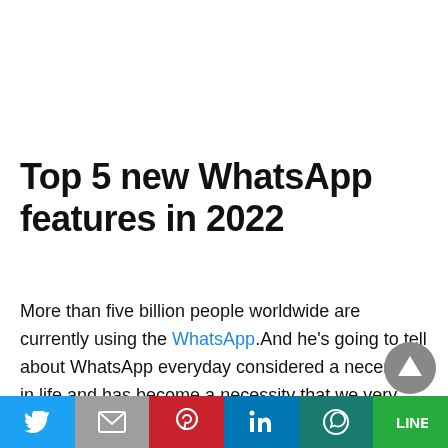Top 5 new WhatsApp features in 2022
More than five billion people worldwide are currently using the WhatsApp.And he's going to tell about WhatsApp everyday considered a necessity in life and has become a necessity that we very much need in daily almost come that features five
[Figure (other): Social media share bar with icons for Twitter, Gmail, Pinterest, LinkedIn, WhatsApp, and LINE]